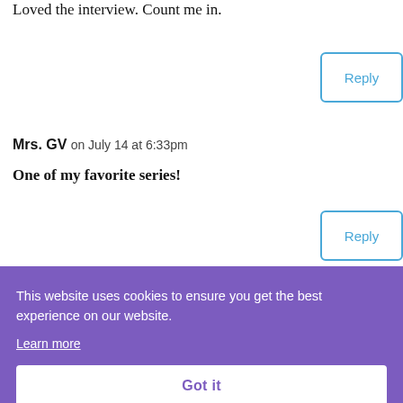Loved the interview. Count me in.
Reply
Mrs. GV on July 14 at 6:33pm
One of my favorite series!
Reply
This website uses cookies to ensure you get the best experience on our website.
Learn more
Got it